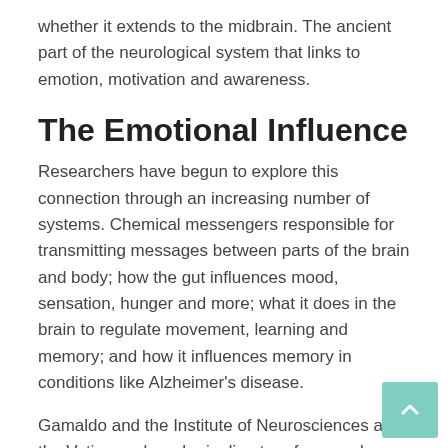whether it extends to the midbrain. The ancient part of the neurological system that links to emotion, motivation and awareness.
The Emotional Influence
Researchers have begun to explore this connection through an increasing number of systems. Chemical messengers responsible for transmitting messages between parts of the brain and body; how the gut influences mood, sensation, hunger and more; what it does in the brain to regulate movement, learning and memory; and how it influences memory in conditions like Alzheimer's disease.
Gamaldo and the Institute of Neurosciences at the Vatican, where he is director of research, are leading that effort. Their latest work points to gut bacteria as being involved.